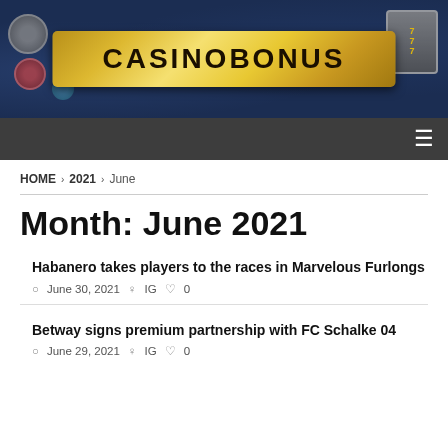[Figure (illustration): CASINOBONUS website banner with dark blue background showing casino chips and slot machine imagery, with a gold ribbon banner displaying 'CASINOBONUS' text]
Navigation bar with hamburger menu icon
HOME > 2021 > June
Month: June 2021
Habanero takes players to the races in Marvelous Furlongs
June 30, 2021  IG  0
Betway signs premium partnership with FC Schalke 04
June 29, 2021  IG  0